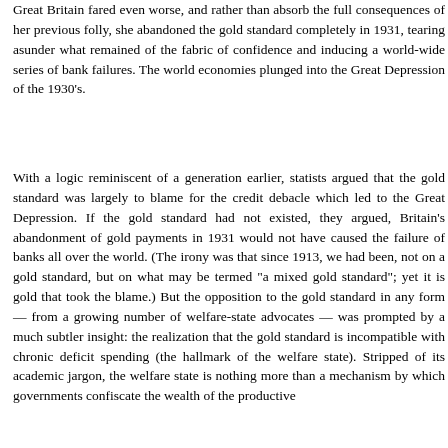Great Britain fared even worse, and rather than absorb the full consequences of her previous folly, she abandoned the gold standard completely in 1931, tearing asunder what remained of the fabric of confidence and inducing a world-wide series of bank failures. The world economies plunged into the Great Depression of the 1930's.
With a logic reminiscent of a generation earlier, statists argued that the gold standard was largely to blame for the credit debacle which led to the Great Depression. If the gold standard had not existed, they argued, Britain's abandonment of gold payments in 1931 would not have caused the failure of banks all over the world. (The irony was that since 1913, we had been, not on a gold standard, but on what may be termed "a mixed gold standard"; yet it is gold that took the blame.) But the opposition to the gold standard in any form — from a growing number of welfare-state advocates — was prompted by a much subtler insight: the realization that the gold standard is incompatible with chronic deficit spending (the hallmark of the welfare state). Stripped of its academic jargon, the welfare state is nothing more than a mechanism by which governments confiscate the wealth of the productive